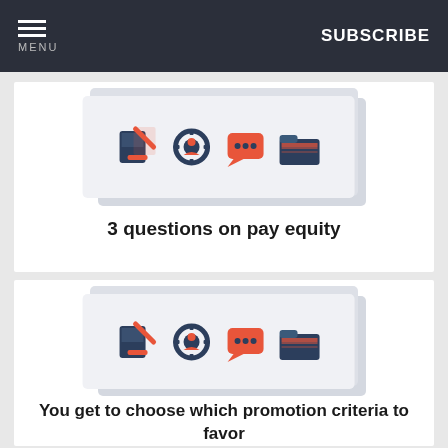MENU | SUBSCRIBE
[Figure (illustration): Stacked card graphic with four icons: gavel/law book (red), gear with person (dark blue), speech bubble with dots (red), and folder (dark blue)]
3 questions on pay equity
[Figure (illustration): Stacked card graphic with four icons: gavel/law book (red), gear with person (dark blue), speech bubble with dots (red), and folder (dark blue)]
You get to choose which promotion criteria to favor